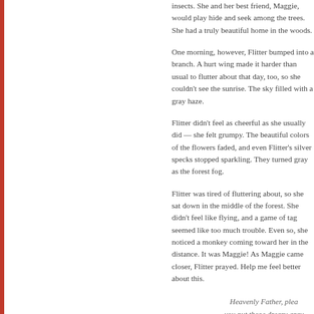insects. She and her best friend, Maggie, would play hide and seek among the trees. She had a truly beautiful home in the woods.
One morning, however, Flitter bumped into a branch. A hurt wing made it harder than usual to flutter about that day, too, so she couldn't see the sunrise. The sky filled with a gray haze.
Flitter didn't feel as cheerful as she usually did — she felt grumpy. The beautiful colors of the flowers faded, and even Flitter's silver specks stopped sparkling. They turned gray as the forest fog.
Flitter was tired of fluttering about, so she sat down in the middle of the forest. She didn't feel like flying, and a game of tag seemed like too much trouble. Even so, she noticed a monkey coming toward her in the distance. It was Maggie! As Maggie came closer, Flitter prayed. Help me feel better about this.
Heavenly Father, plea
you put those dreary gray
And why did you make
It's hurting my flying